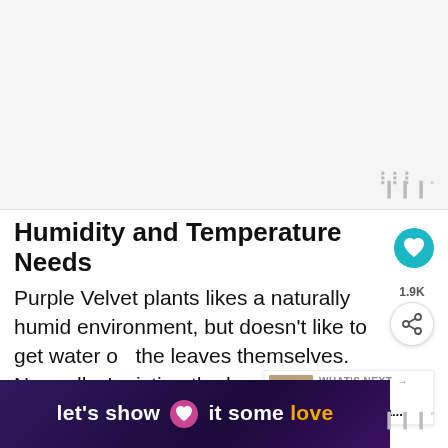[Figure (other): Advertisement placeholder box, light gray background with watermark logo]
Humidity and Temperature Needs
Purple Velvet plants likes a naturally humid environment, but doesn't like to get water on the leaves themselves.  Normally, I misting the leaves to increase humidity but th...
[Figure (other): Bottom advertisement banner: dark purple gradient background with text 'let's show it some love' with a pink heart icon, and yellow 'love' text]